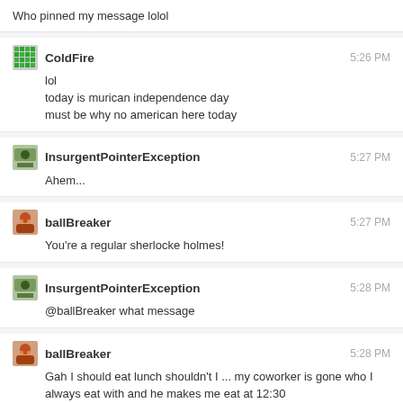Who pinned my message lolol
ColdFire — 5:26 PM — lol
today is murican independence day
must be why no american here today
InsurgentPointerException — 5:27 PM — Ahem...
ballBreaker — 5:27 PM — You're a regular sherlocke holmes!
InsurgentPointerException — 5:28 PM — @ballBreaker what message
ballBreaker — 5:28 PM — Gah I should eat lunch shouldn't I ... my coworker is gone who I always eat with and he makes me eat at 12:30
left to my own devices it's closer to 2
@InsurgentPointerException CF's
Raghav Sood — 5:28 PM — @ColdFire I'm afraid we can neither confirm nor deny any such locations due to operational security requirements.
InsurgentPointerException — 5:28 PM — @ColdFire I'm an American